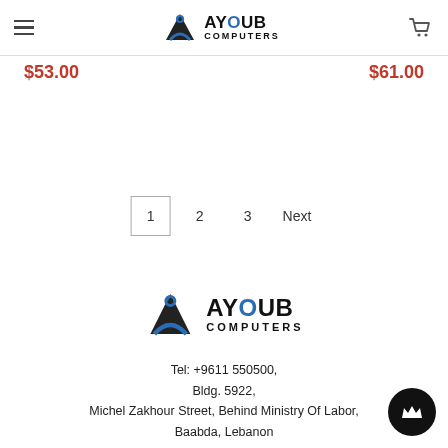Ayoub Computers - header with hamburger menu, logo, and cart icon
$53.00
$61.00
1  2  3  Next
[Figure (logo): Ayoub Computers logo - large version in footer area]
Tel: +9611 550500, Bldg. 5922, Michel Zakhour Street, Behind Ministry Of Labor, Baabda, Lebanon